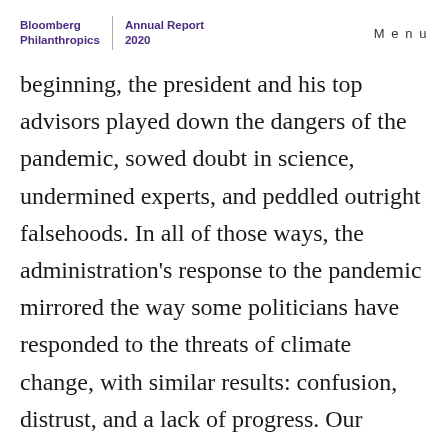Bloomberg Philanthropies | Annual Report 2020 | Menu
beginning, the president and his top advisors played down the dangers of the pandemic, sowed doubt in science, undermined experts, and peddled outright falsehoods. In all of those ways, the administration's response to the pandemic mirrored the way some politicians have responded to the threats of climate change, with similar results: confusion, distrust, and a lack of progress. Our ability to confront the coronavirus or climate